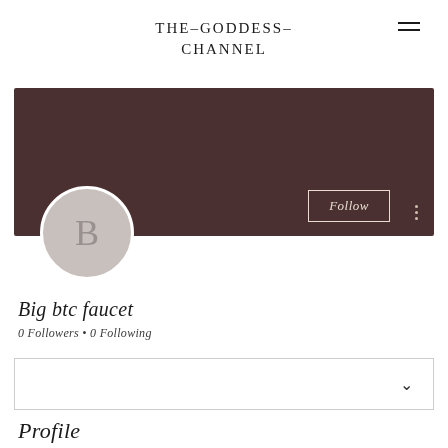THE-GODDESS-CHANNEL
[Figure (screenshot): Dark brown banner/cover image with a circular avatar placeholder showing letter B, a Follow button, and a three-dot menu icon]
Big btc faucet
0 Followers • 0 Following
[Figure (screenshot): A dropdown/accordion UI element with a chevron down arrow on the right]
Profile